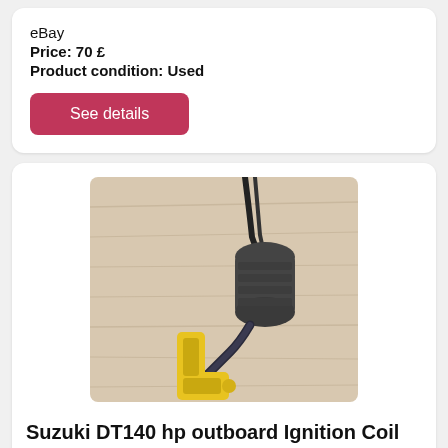eBay
Price: 70 £
Product condition: Used
See details
[Figure (photo): Photo of a Suzuki outboard ignition coil with black body and yellow spark plug connector, curved black wire, on a light wood background.]
Suzuki DT140 hp outboard Ignition Coil Part No F6T
Hi, primary magneto ignition coil for suzuki hello dear friends, splined propeller spacer